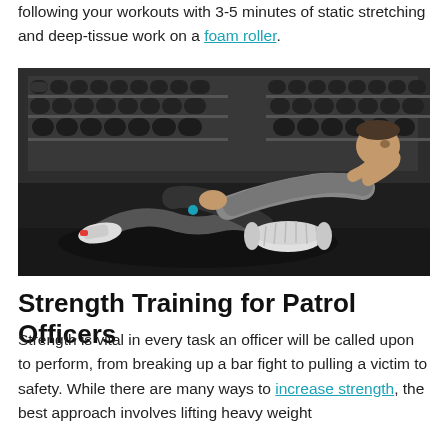following your workouts with 3-5 minutes of static stretching and deep-tissue work on a foam roller.
[Figure (photo): A muscular man in a gray tank top and black shorts performing a sit-up or crunch movement on a foam roller in a gym, with a rack of dumbbells visible in the background.]
Strength Training for Patrol Officers
Strength is vital in every task an officer will be called upon to perform, from breaking up a bar fight to pulling a victim to safety. While there are many ways to increase strength, the best approach involves lifting heavy weight